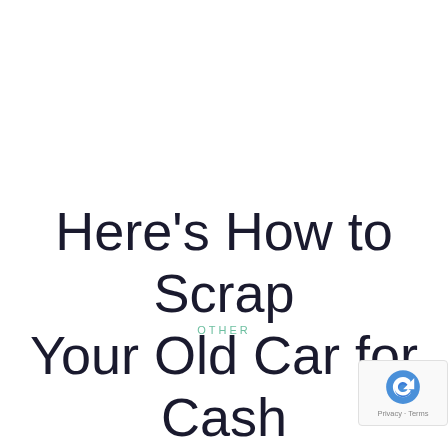OTHER
Here's How to Scrap Your Old Car for Cash